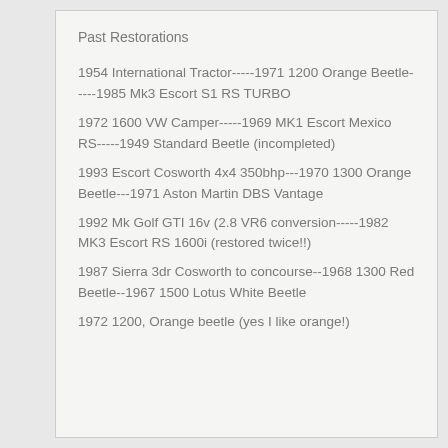Past Restorations
1954 International Tractor-----1971 1200 Orange Beetle-----1985 Mk3 Escort S1 RS TURBO
1972 1600 VW Camper-----1969 MK1 Escort Mexico RS-----1949 Standard Beetle (incompleted)
1993 Escort Cosworth 4x4 350bhp---1970 1300 Orange Beetle---1971 Aston Martin DBS Vantage
1992 Mk Golf GTI 16v (2.8 VR6 conversion-----1982 MK3 Escort RS 1600i (restored twice!!)
1987 Sierra 3dr Cosworth to concourse--1968 1300 Red Beetle--1967 1500 Lotus White Beetle
1972 1200, Orange beetle (yes I like orange!)